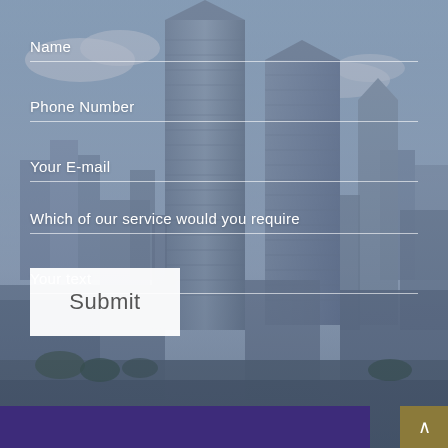[Figure (photo): Background photograph of a modern city skyline with tall glass skyscrapers under a partly cloudy blue sky, with a semi-transparent blue-grey overlay.]
Name
Phone Number
Your E-mail
Which of our service would you require
Your text
Submit